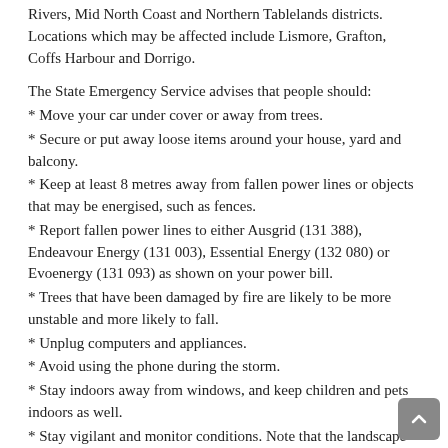Rivers, Mid North Coast and Northern Tablelands districts. Locations which may be affected include Lismore, Grafton, Coffs Harbour and Dorrigo.
The State Emergency Service advises that people should:
* Move your car under cover or away from trees.
* Secure or put away loose items around your house, yard and balcony.
* Keep at least 8 metres away from fallen power lines or objects that may be energised, such as fences.
* Report fallen power lines to either Ausgrid (131 388), Endeavour Energy (131 003), Essential Energy (132 080) or Evoenergy (131 093) as shown on your power bill.
* Trees that have been damaged by fire are likely to be more unstable and more likely to fall.
* Unplug computers and appliances.
* Avoid using the phone during the storm.
* Stay indoors away from windows, and keep children and pets indoors as well.
* Stay vigilant and monitor conditions. Note that the landscape may have changed following bushfires.